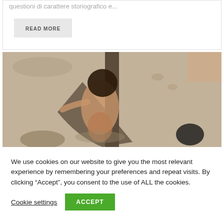questioni di carattere storiografico e...
READ MORE
[Figure (photo): A malnourished child lying in a hammock on a dirt ground, photographed from above. Other people's feet visible around the edges.]
We use cookies on our website to give you the most relevant experience by remembering your preferences and repeat visits. By clicking “Accept”, you consent to the use of ALL the cookies.
Cookie settings
ACCEPT